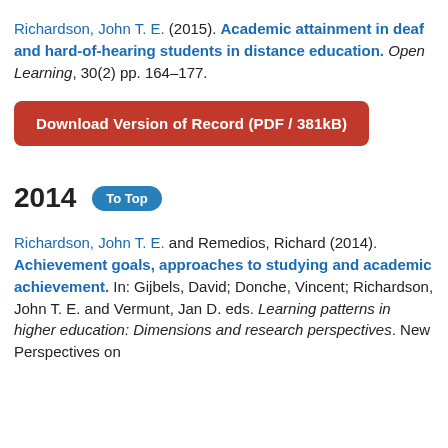Richardson, John T. E. (2015). Academic attainment in deaf and hard-of-hearing students in distance education. Open Learning, 30(2) pp. 164–177.
Download Version of Record (PDF / 381kB)
2014   To Top
Richardson, John T. E. and Remedios, Richard (2014). Achievement goals, approaches to studying and academic achievement. In: Gijbels, David; Donche, Vincent; Richardson, John T. E. and Vermunt, Jan D. eds. Learning patterns in higher education: Dimensions and research perspectives. New Perspectives on Learning and Instruction. Routledge, pp. 137–140.